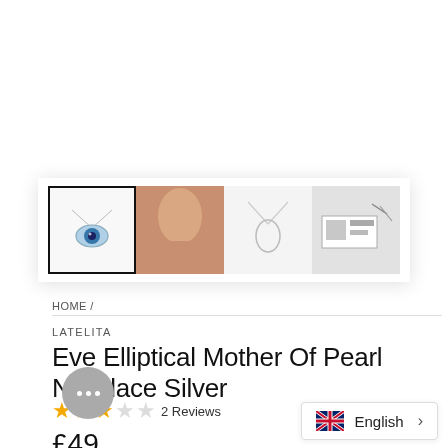[Figure (photo): Thumbnail strip showing 4 product images of a necklace: evil eye pendant (selected/bordered), close-up on neck, simple pendant on white, black and white packaging photo]
HOME /
LATELITA
Eve Elliptical Mother Of Pearl Necklace Silver
★★★☆☆ 2 Reviews
£49.00